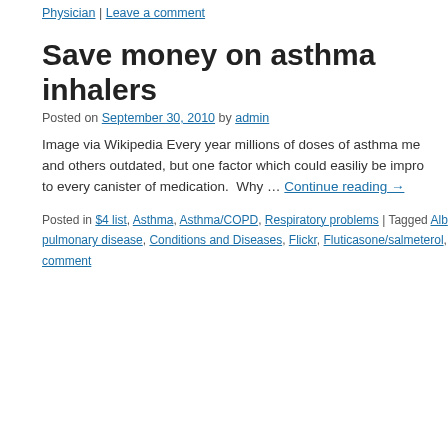Physician | Leave a comment
Save money on asthma inhalers
Posted on September 30, 2010 by admin
Image via Wikipedia Every year millions of doses of asthma me... and others outdated, but one factor which could easily be impro... to every canister of medication.  Why … Continue reading →
Posted in $4 list, Asthma, Asthma/COPD, Respiratory problems | Tagged Alb... pulmonary disease, Conditions and Diseases, Flickr, Fluticasone/salmeterol, ... comment